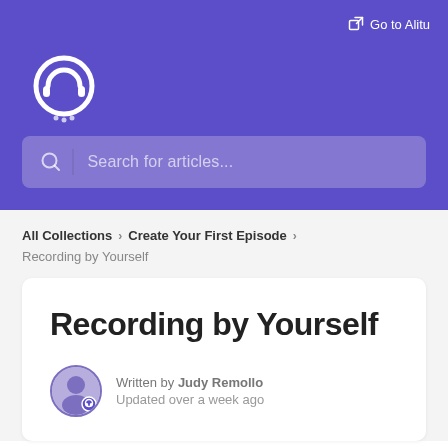Go to Alitu
[Figure (logo): Alitu podcast maker logo — white circular headphone/person icon on purple background]
Search for articles...
All Collections > Create Your First Episode
Recording by Yourself
Recording by Yourself
Written by Judy Remollo
Updated over a week ago